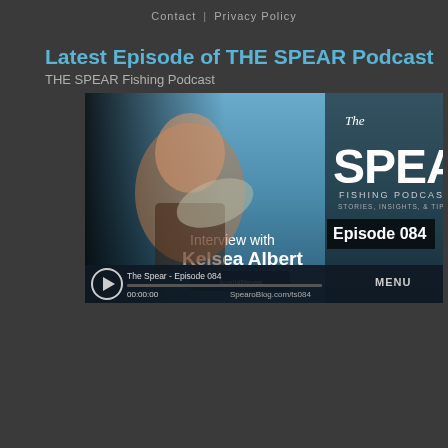Contact | Privacy Policy
Latest Episode of THE SPEAR Podcast
THE SPEAR Fishing Podcast
[Figure (screenshot): Podcast episode cover art screenshot showing a woman in a wetsuit holding a large fish, with 'The SPEAR Fishing Podcast - Stories, Insights & Tips - Episode 084 - Interview with Kelsea Albert' text overlay. Player controls show 'The Spear - Episode 084' at 00:00:00 with a MENU button and SpearoBlog.com/ts084 URL.]